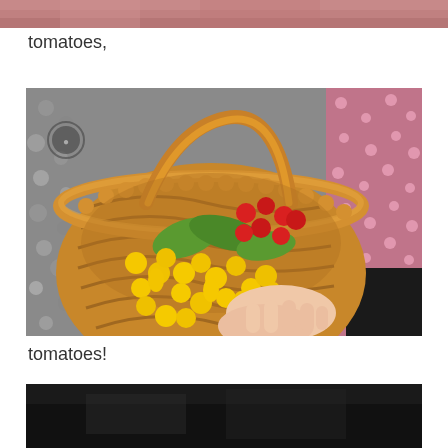[Figure (photo): Partial photo at top of page, cropped, showing reddish/pink tones — appears to be the bottom edge of a photo from the previous page]
tomatoes,
[Figure (photo): Photo of a wicker basket held by a person's hands, filled with yellow and red cherry tomatoes and green leaves. Person wearing a patterned dress with pink polka dots. Background is a stone or gravel surface.]
tomatoes!
[Figure (photo): Partial photo at bottom of page, cropped, showing dark tones — top edge of a photo continuing on the next page]